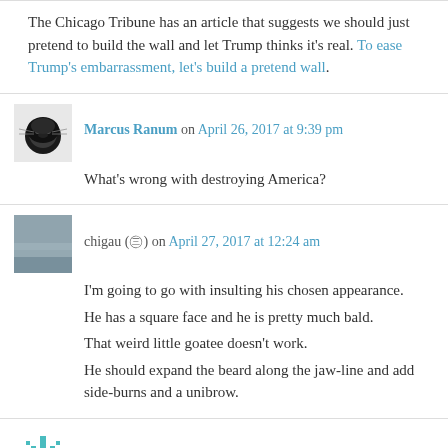The Chicago Tribune has an article that suggests we should just pretend to build the wall and let Trump thinks it's real. To ease Trump's embarrassment, let's build a pretend wall.
Marcus Ranum on April 26, 2017 at 9:39 pm
What's wrong with destroying America?
chigau (㊂) on April 27, 2017 at 12:24 am
I'm going to go with insulting his chosen appearance.
He has a square face and he is pretty much bald.
That weird little goatee doesn't work.
He should expand the beard along the jaw-line and add side-burns and a unibrow.
lumipuna on April 27, 2017 at 4:54 am
Kengi: Recently in Youtube comments I saw someone suggest that Trump's base could be placated by the White